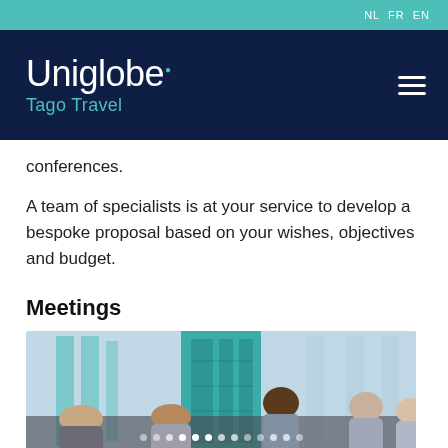NL FR EN
[Figure (logo): Uniglobe. Tago Travel logo on dark navy background with hamburger menu icon]
conferences.
A team of specialists is at your service to develop a bespoke proposal based on your wishes, objectives and budget.
Meetings
[Figure (photo): Meeting photo showing business people seated around a table in a glass-walled conference room, teal/blue tones, with dot navigation indicators at the bottom]